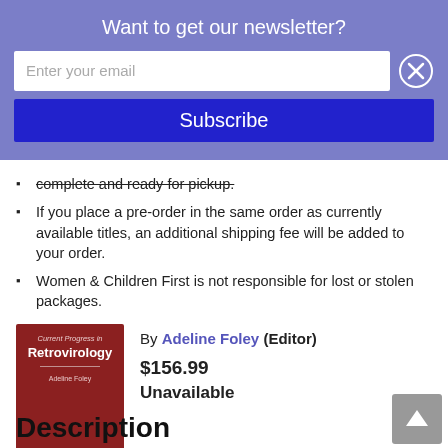Want to get our newsletter?
Enter your email
Subscribe
complete and ready for pickup.
If you place a pre-order in the same order as currently available titles, an additional shipping fee will be added to your order.
Women & Children First is not responsible for lost or stolen packages.
By Adeline Foley (Editor)
$156.99
Unavailable
[Figure (illustration): Book cover for 'Current Progress in Retrovirology' by Adeline Foley, dark red/maroon background]
Description